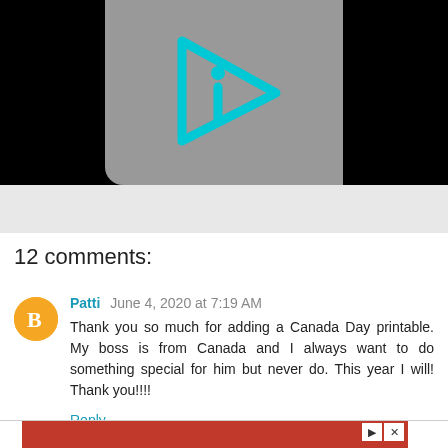[Figure (screenshot): Video thumbnail with gray background and cyan play button icon with letter i, on a black banner]
12 comments:
Patti June 4, 2020 at 7:19 AM
Thank you so much for adding a Canada Day printable. My boss is from Canada and I always want to do something special for him but never do. This year I will! Thank you!!!!
Reply
[Figure (screenshot): Red advertisement banner with play and close buttons]